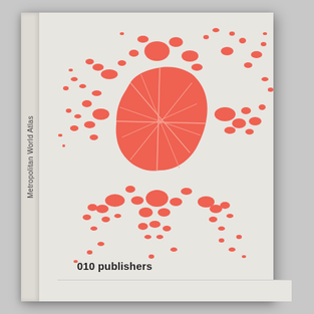[Figure (illustration): Book cover of 'Metropolitan World Atlas' published by 010 publishers. The cover has a light grey background with a red/coral urban map silhouette of a city sprawl. The book spine shows the title text rotated vertically.]
Metropolitan World Atlas
010 publishers